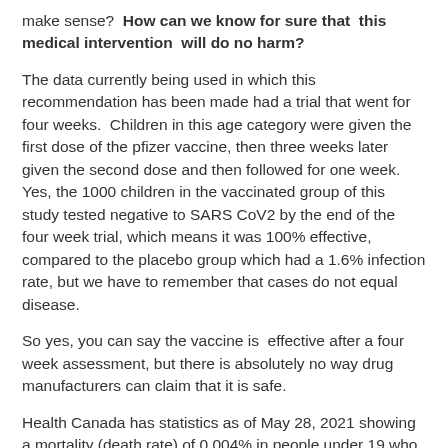make sense?  How can we know for sure that  this medical intervention  will do no harm?
The data currently being used in which this recommendation has been made had a trial that went for four weeks.  Children in this age category were given the first dose of the pfizer vaccine, then three weeks later given the second dose and then followed for one week.  Yes, the 1000 children in the vaccinated group of this study tested negative to SARS CoV2 by the end of the four week trial, which means it was 100% effective, compared to the placebo group which had a 1.6% infection rate, but we have to remember that cases do not equal disease.
So yes, you can say the vaccine is  effective after a four week assessment, but there is absolutely no way drug manufacturers can claim that it is safe.
Health Canada has statistics as of May 28, 2021 showing a mortality (death rate) of 0.004% in people under 19 who